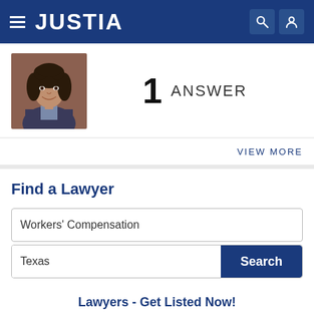JUSTIA
[Figure (photo): Profile photo of a woman with curly dark hair, smiling, wearing a blazer]
1 ANSWER
VIEW MORE
Find a Lawyer
Workers' Compensation
Texas
Search
Lawyers - Get Listed Now!
Get a free directory profile listing